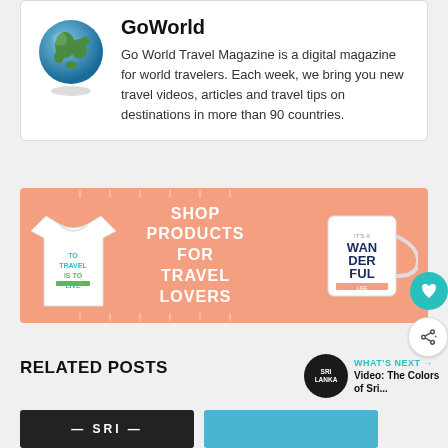[Figure (logo): Globe icon representing GoWorld travel magazine]
GoWorld
Go World Travel Magazine is a digital magazine for world travelers. Each week, we bring you new travel videos, articles and travel tips on destinations in more than 90 countries.
[Figure (infographic): Advertisement banner with salmon/peach background showing a t-shirt with 'TO TRAVEL IS TO LIVE' text and a mug with 'IT'S A WONDERFUL LIFE' text, with 'SHOP PRODUCTS FOR TRAVEL LOVERS' in white bold text]
RELATED POSTS
WHAT'S NEXT → Video: The Colors of Sri...
[Figure (photo): Thumbnail showing SRI text on dark background]
[Figure (photo): Thumbnail showing aerial coastal/beach photo]